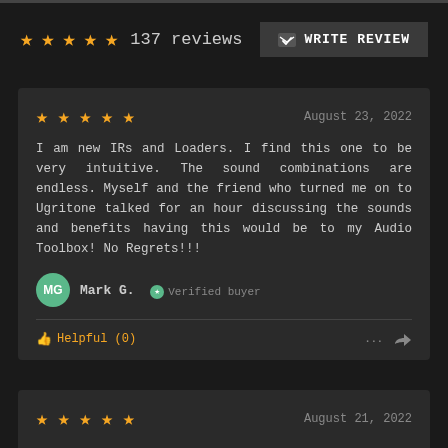★★★★★ 137 reviews
WRITE REVIEW
August 23, 2022
I am new IRs and Loaders. I find this one to be very intuitive. The sound combinations are endless. Myself and the friend who turned me on to Ugritone talked for an hour discussing the sounds and benefits having this would be to my Audio Toolbox! No Regrets!!!
Mark G. Verified buyer
Helpful (0)
August 21, 2022